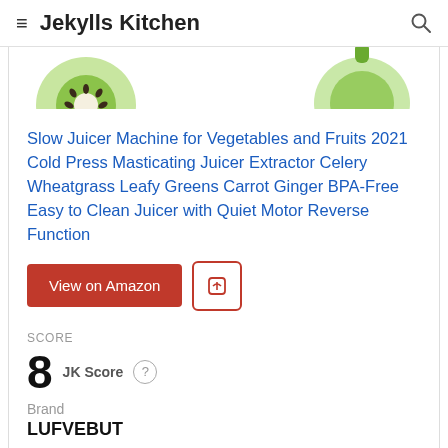Jekylls Kitchen
[Figure (photo): Partial view of sliced kiwi fruit and green apple against a white background, showing the tops of two fruit images cut off at the top of the card.]
Slow Juicer Machine for Vegetables and Fruits 2021 Cold Press Masticating Juicer Extractor Celery Wheatgrass Leafy Greens Carrot Ginger BPA-Free Easy to Clean Juicer with Quiet Motor Reverse Function
View on Amazon
SCORE
8  JK Score
Brand
LUFVEBUT
Product    Customer